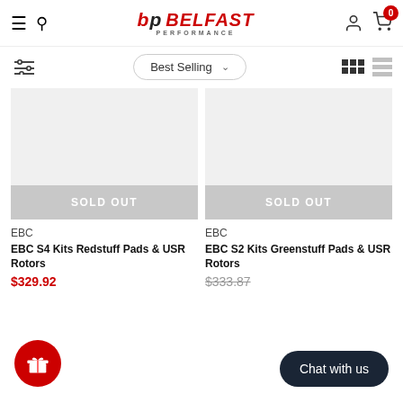[Figure (logo): Belfast Performance logo with BP icon and red italic text]
[Figure (screenshot): Best Selling sort dropdown with chevron]
[Figure (screenshot): Grid and list view toggle icons]
[Figure (screenshot): Left product card - EBC S4 Kits, sold out, gray image area]
EBC
EBC S4 Kits Redstuff Pads & USR Rotors
$329.92
[Figure (screenshot): Right product card - EBC S2 Kits, sold out, gray image area]
EBC
EBC S2 Kits Greenstuff Pads & USR Rotors
$333.87
Chat with us